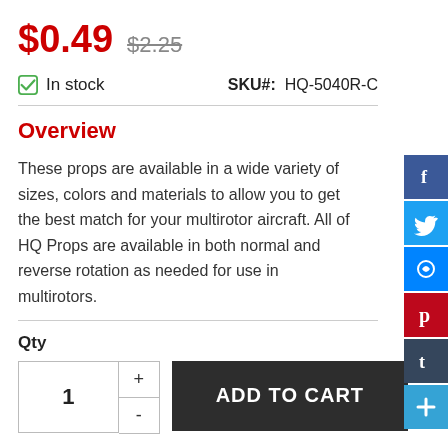$0.49  $2.25
In stock   SKU#: HQ-5040R-C
Overview
These props are available in a wide variety of sizes, colors and materials to allow you to get the best match for your multirotor aircraft. All of HQ Props are available in both normal and reverse rotation as needed for use in multirotors.
Qty
ADD TO CART
ADD TO WISH LIST   EMAIL